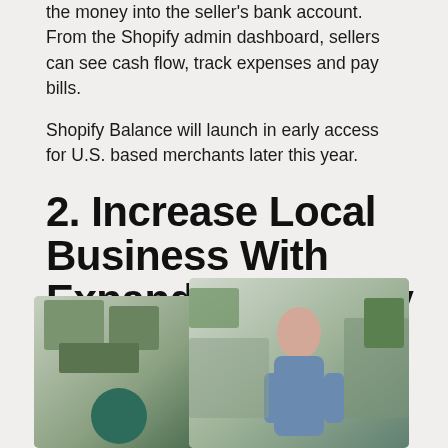the money into the seller's bank account. From the Shopify admin dashboard, sellers can see cash flow, track expenses and pay bills.
Shopify Balance will launch in early access for U.S. based merchants later this year.
2. Increase Local Business With Expanded Delivery Options
[Figure (photo): Two overlapping photos: left photo shows a delivery bicycle with plants/boxes and a teal circular graphic element; right photo shows a smiling woman in a denim jacket standing in front of a vehicle with plants.]